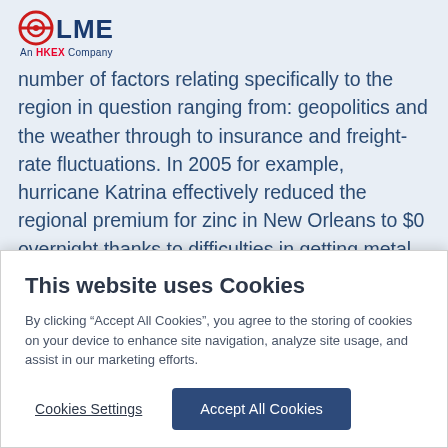[Figure (logo): LME (London Metal Exchange) logo with red circle/target icon and 'An HKEX Company' tagline below]
number of factors relating specifically to the region in question ranging from: geopolitics and the weather through to insurance and freight-rate fluctuations. In 2005 for example, hurricane Katrina effectively reduced the regional premium for zinc in New Orleans to $0 overnight thanks to difficulties in getting metal out of New Orleans as well as the metal becoming
This website uses Cookies
By clicking “Accept All Cookies”, you agree to the storing of cookies on your device to enhance site navigation, analyze site usage, and assist in our marketing efforts.
Cookies Settings
Accept All Cookies